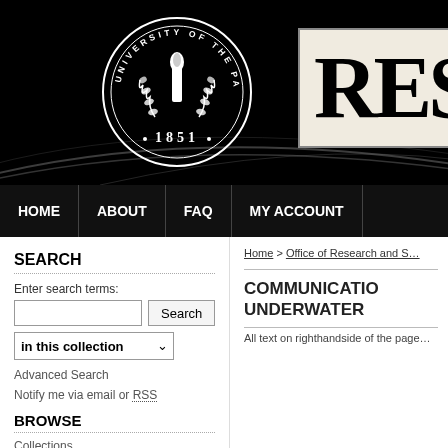[Figure (screenshot): University of the Pacific circular seal/logo on black background with '1851' text, surrounded by laurel branches and decorative elements]
[Figure (logo): Partial 'RES' text in large bold serif font on cream/beige background box with border, representing repository name]
HOME | ABOUT | FAQ | MY ACCOUNT
SEARCH
Enter search terms:
in this collection
Advanced Search
Notify me via email or RSS
BROWSE
Collections
Home > Office of Research and S...
COMMUNICATIONS UNDERWATER
All text on righthandside of the page